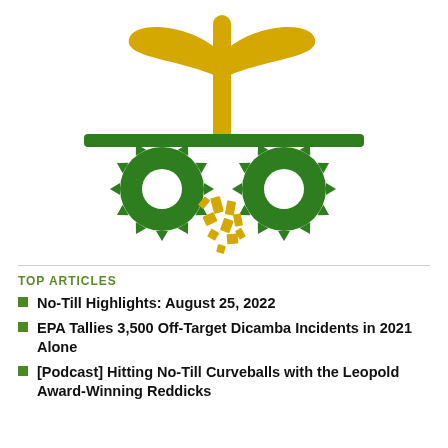[Figure (logo): No-Till Farmer logo: yellow plant with two leaves above a horizontal green bar, with two green spiked tillage wheels below and yellow residue fragments between them]
TOP ARTICLES
No-Till Highlights: August 25, 2022
EPA Tallies 3,500 Off-Target Dicamba Incidents in 2021 Alone
[Podcast] Hitting No-Till Curveballs with the Leopold Award-Winning Reddicks